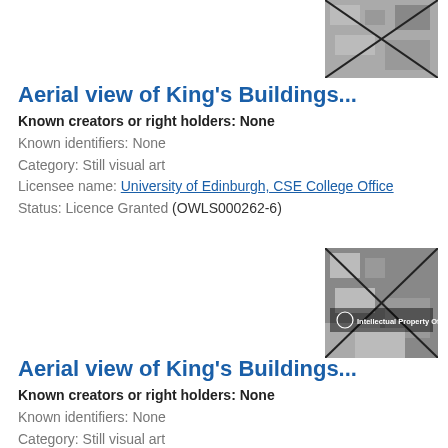[Figure (photo): Aerial black and white photograph of King's Buildings campus with X watermark overlay, top right of page]
Aerial view of King's Buildings...
Known creators or right holders: None
Known identifiers: None
Category: Still visual art
Licensee name: University of Edinburgh, CSE College Office
Status: Licence Granted (OWLS000262-6)
[Figure (photo): Aerial black and white photograph of King's Buildings campus with X watermark overlay and Intellectual Property Office logo, second entry]
Aerial view of King's Buildings...
Known creators or right holders: None
Known identifiers: None
Category: Still visual art
Licensee name: University of Edinburgh, CSE College Office